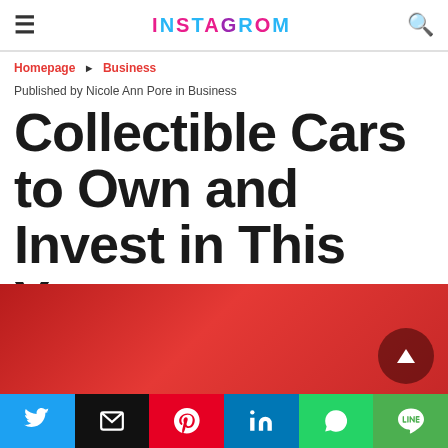INSTAFROM
Homepage > Business
Published by Nicole Ann Pore in Business
Collectible Cars to Own and Invest in This Year
[Figure (other): Red gradient banner with scroll-to-top button]
[Figure (infographic): Social sharing bar with Twitter, Email, Pinterest, LinkedIn, WhatsApp, Line buttons]